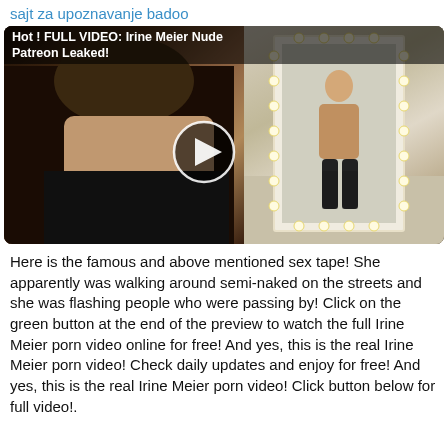sajt za upoznavanje badoo
[Figure (screenshot): Video thumbnail showing a woman in fishnets photographing herself in a large mirror with light bulbs around the frame. A play button overlay is visible in the center. Title overlay reads: Hot ! FULL VIDEO: Irine Meier Nude Patreon Leaked!]
Here is the famous and above mentioned sex tape! She apparently was walking around semi-naked on the streets and she was flashing people who were passing by! Click on the green button at the end of the preview to watch the full Irine Meier porn video online for free! And yes, this is the real Irine Meier porn video! Check daily updates and enjoy for free! And yes, this is the real Irine Meier porn video! Click button below for full video!.